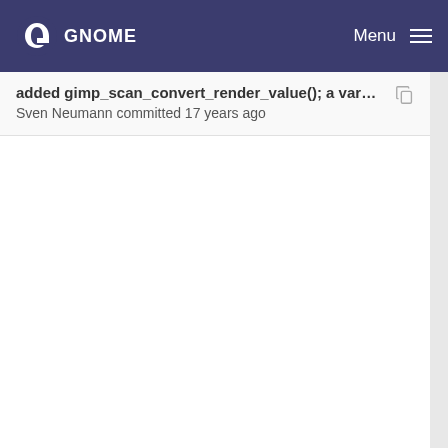GNOME  Menu
added gimp_scan_convert_render_value(); a varia…
Sven Neumann committed 17 years ago
minor cleanup.
Sven Neumann committed 17 years ago